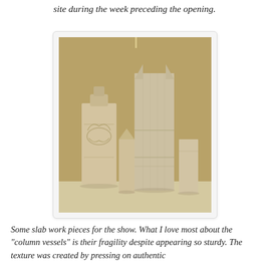site during the week preceding the opening.
[Figure (photo): Photograph of ceramic slab work pieces for a show, displayed on a table against a golden-olive fabric background. The pieces include a square bottle vase with bird/feather relief decoration, two smaller column-shaped vessels, a tall column vessel with pointed ears at the top, and a shorter rectangular column on the right. All pieces appear to be unglazed clay in natural tan/beige tones.]
Some slab work pieces for the show. What I love most about the "column vessels" is their fragility despite appearing so sturdy. The texture was created by pressing on authentic